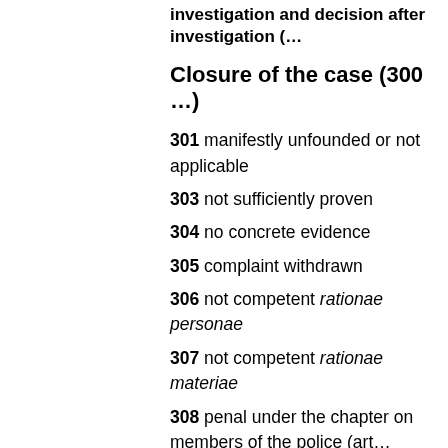investigation and decision after investigation (…
Closure of the case (300 …)
301 manifestly unfounded or not applicable
303 not sufficiently proven
304 no concrete evidence
305 complaint withdrawn
306 not competent rationae personae
307 not competent rationae materiae
308 penal under the chapter on members of the police (art… Organization Act of 18 July 1991 - no action taken by the…
310 decision confirmed
311 author unknown or unidentified
312 no fault
313 no dysfunction